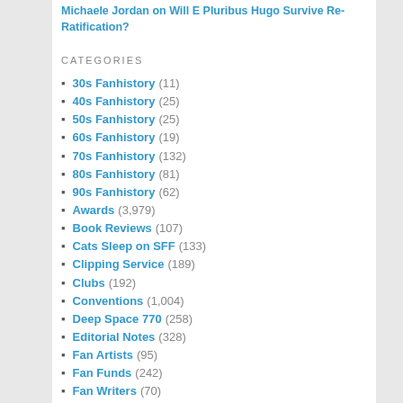Michaele Jordan on Will E Pluribus Hugo Survive Re-Ratification?
CATEGORIES
30s Fanhistory (11)
40s Fanhistory (25)
50s Fanhistory (25)
60s Fanhistory (19)
70s Fanhistory (132)
80s Fanhistory (81)
90s Fanhistory (62)
Awards (3,979)
Book Reviews (107)
Cats Sleep on SFF (133)
Clipping Service (189)
Clubs (192)
Conventions (1,004)
Deep Space 770 (258)
Editorial Notes (328)
Fan Artists (95)
Fan Funds (242)
Fan Writers (70)